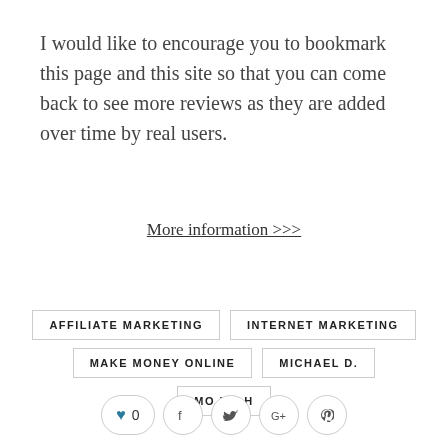I would like to encourage you to bookmark this page and this site so that you can come back to see more reviews as they are added over time by real users.
More information >>>
AFFILIATE MARKETING
INTERNET MARKETING
MAKE MONEY ONLINE
MICHAEL D.
MO MIAH
[Figure (other): Social sharing buttons: heart/like button with count 0, Facebook, Twitter, Google+, Pinterest]